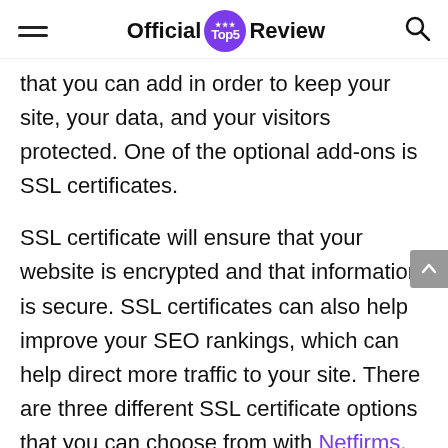Official Top5 Review
that you can add in order to keep your site, your data, and your visitors protected. One of the optional add-ons is SSL certificates.
SSL certificate will ensure that your website is encrypted and that information is secure. SSL certificates can also help improve your SEO rankings, which can help direct more traffic to your site. There are three different SSL certificate options that you can choose from with Netfirms.